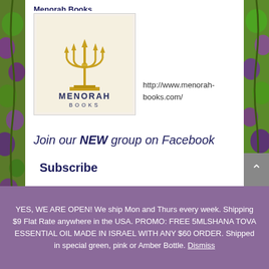Menorah Books
[Figure (logo): Menorah Books logo: gold menorah with arrows on top, text MENORAH BOOKS below, on a cream/beige background]
http://www.menorah-books.com/
Join our NEW group on Facebook
Subscribe
YES, WE ARE OPEN! We ship Mon and Thurs every week. Shipping $9 Flat Rate anywhere in the USA. PROMO: FREE 5MLSHANA TOVA ESSENTIAL OIL MADE IN ISRAEL WITH ANY $60 ORDER. Shipped in special green, pink or Amber Bottle. Dismiss